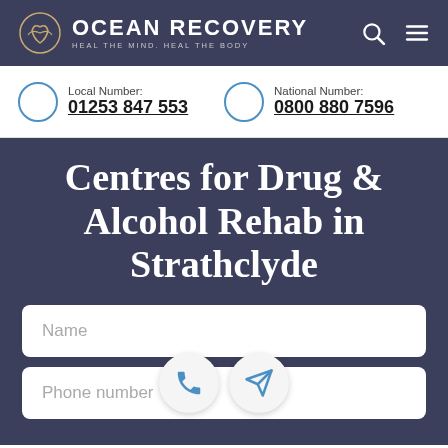[Figure (logo): Ocean Recovery logo with stylized heart/wave icon and text 'OCEAN RECOVERY - HEAL THE MIND. HEAL THE BODY']
Local Number:
01253 847 553
National Number:
0800 880 7596
Centres for Drug & Alcohol Rehab in Strathclyde
Name
Phone number